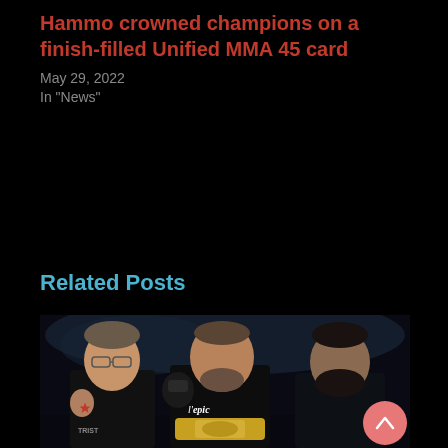Hammo crowned champions on a finish-filled Unified MMA 45 card
May 29, 2022
In "News"
Related Posts
[Figure (photo): Three men posing together after an MMA fight. The man on the left wears a black t-shirt with 'TRIST' visible and has a fist raised. The man in the center wears a black t-shirt with 'l'epic' branding and holds a championship belt while raising a gloved fist. The man on the right wears a dark jacket and has a beard. A pink/coral circular scroll-to-top button is visible in the bottom right area.]